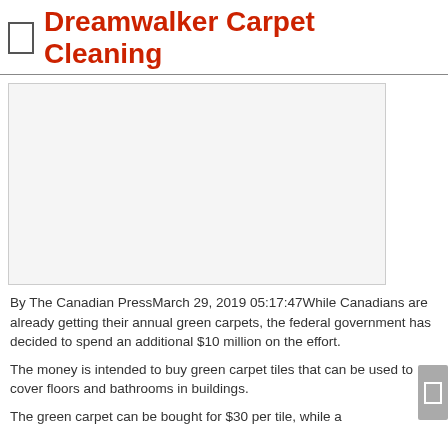Dreamwalker Carpet Cleaning
[Figure (other): Large white/light gray rectangular image placeholder area]
By The Canadian PressMarch 29, 2019 05:17:47While Canadians are already getting their annual green carpets, the federal government has decided to spend an additional $10 million on the effort.
The money is intended to buy green carpet tiles that can be used to cover floors and bathrooms in buildings.
The green carpet can be bought for $30 per tile, while a